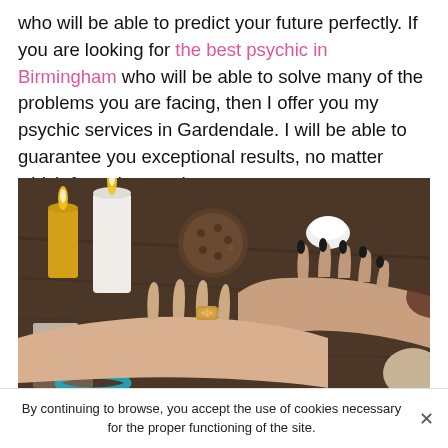who will be able to predict your future perfectly. If you are looking for the best psychic in Birmingham who will be able to solve many of the problems you are facing, then I offer you my psychic services in Gardendale. I will be able to guarantee you exceptional results, no matter which formula you choose.
[Figure (photo): A psychic reading scene showing two pairs of hands on a wooden table, with candles and decorative objects in the background. One person wears a jeweled ring and the other wears a beaded bracelet.]
By continuing to browse, you accept the use of cookies necessary for the proper functioning of the site.